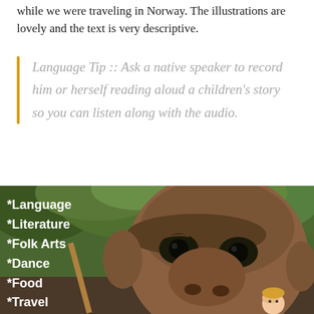while we were traveling in Norway. The illustrations are lovely and the text is very descriptive.
Language Tip :: Ask a native speaker to record him or herself reading aloud a children's story so you can listen along with the audio.
[Figure (photo): Photo of a large troll sculpture face with a child nearby, set against green trees, with overlaid white text listing: *Language, *Literature, *Folk Arts, *Dance, *Food, *Travel, *Genealogy]